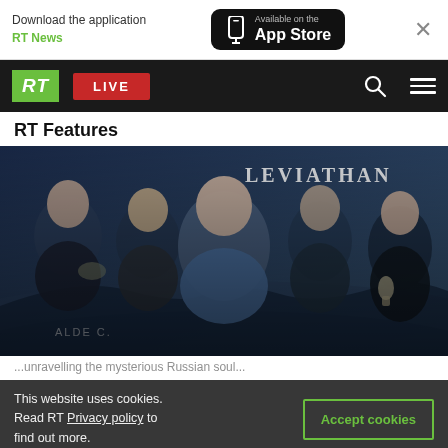Download the application RT News — Available on the App Store
RT LIVE
RT Features
[Figure (photo): Composite promotional image for the Russian film 'Leviathan' showing five men — actors and filmmakers — against a cinematic blue-toned background with the word LEVIATHAN in large letters. One man holds a trophy award.]
This website uses cookies. Read RT Privacy policy to find out more.
Accept cookies